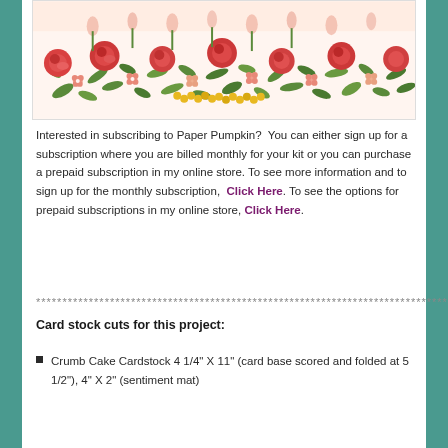[Figure (illustration): Floral pattern illustration with colorful flowers including red/coral roses, pink small flowers, yellow dots, green leaves on a light cream background. The top portion fades to a lighter pink.]
Interested in subscribing to Paper Pumpkin?  You can either sign up for a subscription where you are billed monthly for your kit or you can purchase a prepaid subscription in my online store. To see more information and to sign up for the monthly subscription,  Click Here. To see the options for prepaid subscriptions in my online store, Click Here.
******************************************************************************
Card stock cuts for this project:
Crumb Cake Cardstock 4 1/4" X 11" (card base scored and folded at 5 1/2"), 4" X 2" (sentiment mat)